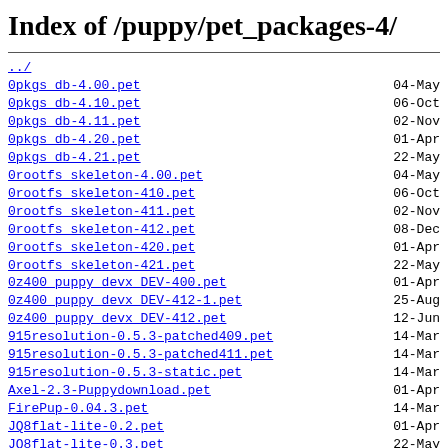Index of /puppy/pet_packages-4/
../
0pkgs_db-4.00.pet   04-May
0pkgs_db-4.10.pet   06-Oct
0pkgs_db-4.11.pet   02-Nov
0pkgs_db-4.20.pet   01-Apr
0pkgs_db-4.21.pet   22-May
0rootfs_skeleton-4.00.pet   04-May
0rootfs_skeleton-410.pet   06-Oct
0rootfs_skeleton-411.pet   02-Nov
0rootfs_skeleton-412.pet   08-Dec
0rootfs_skeleton-420.pet   01-Apr
0rootfs_skeleton-421.pet   22-May
0z400_puppy_devx_DEV-400.pet   01-Apr
0z400_puppy_devx_DEV-412-1.pet   25-Aug
0z400_puppy_devx_DEV-412.pet   12-Jun
915resolution-0.5.3-patched409.pet   14-Mar
915resolution-0.5.3-patched411.pet   14-Mar
915resolution-0.5.3-static.pet   14-Mar
Axel-2.3-Puppydownload.pet   01-Apr
FirePup-0.04.3.pet   14-Mar
JQ8flat-lite-0.2.pet   01-Apr
JQ8flat-lite-0.3.pet   22-May